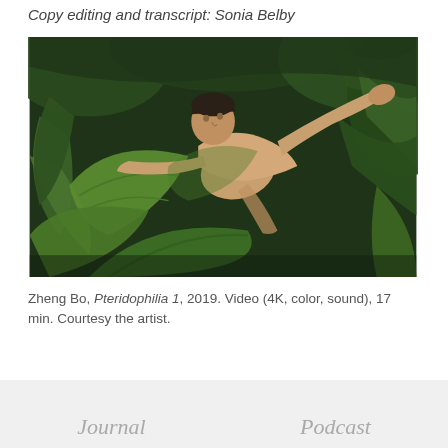Copy editing and transcript: Sonia Belby
[Figure (photo): A person (shirtless) moving dynamically through dense tropical green foliage including large ferns and banana-like plants, photographed outdoors.]
Zheng Bo, Pteridophilia 1, 2019. Video (4K, color, sound), 17 min. Courtesy the artist.
Journal    Podcast